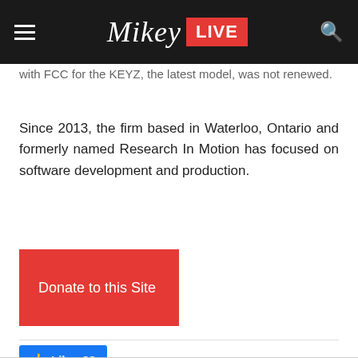[Figure (screenshot): Website navigation bar for 'Mikey LIVE' with hamburger menu on left, logo in center (script-style 'Mikey' text with red 'LIVE' badge), and search icon on right, on dark background]
with FCC for the KEYZ, the latest model, was not renewed.
Since 2013, the firm based in Waterloo, Ontario and formerly named Research In Motion has focused on software development and production.
[Figure (screenshot): Red 'Donate to this Site' button]
[Figure (screenshot): Facebook 'Like 88' button in blue]